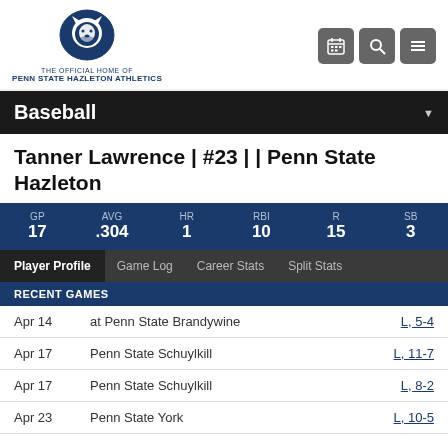[Figure (logo): Penn State Hazleton Athletics logo - lion head in circular emblem]
THE OFFICIAL HOME OF
PENN STATE HAZLETON ATHLETICS
[Figure (other): Three icon buttons: calendar, search, menu]
Baseball
Tanner Lawrence | #23 | | Penn State Hazleton
| GP | AVG | HR | RBI | R | SB |
| --- | --- | --- | --- | --- | --- |
| 17 | .304 | 1 | 10 | 15 | 3 |
Player Profile | Game Log | Career Stats | Split Stats
RECENT GAMES
| Date | Opponent | Result |
| --- | --- | --- |
| Apr 14 | at Penn State Brandywine | L, 5-4 |
| Apr 17 | Penn State Schuylkill | L, 11-7 |
| Apr 17 | Penn State Schuylkill | L, 8-2 |
| Apr 23 | Penn State York | L, 10-5 |